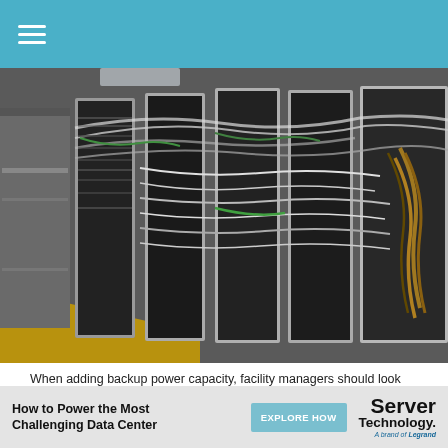[Figure (photo): Data center server racks with dense cable wiring, yellow floor, gray cabinet on left side.]
When adding backup power capacity, facility managers should look beyond today's needs and consider what technology the data center will have to support in the long-term.
JDANNE
Bring in IT Early and Often When Commissioning New
[Figure (infographic): Advertisement banner: How to Power the Most Challenging Data Center — EXPLORE HOW — Server Technology logo]